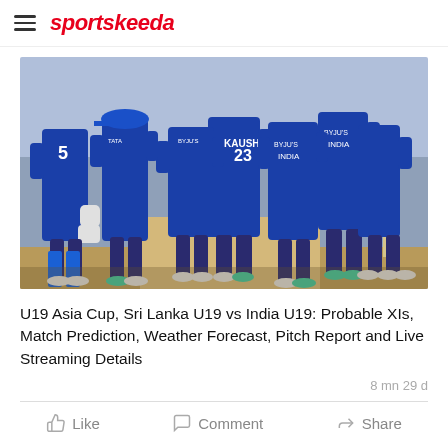sportskeeda
[Figure (photo): India U19 cricket team players celebrating on field, wearing blue jerseys, with stumps visible in background]
U19 Asia Cup, Sri Lanka U19 vs India U19: Probable XIs, Match Prediction, Weather Forecast, Pitch Report and Live Streaming Details
8 mn 29 d
Like  Comment  Share